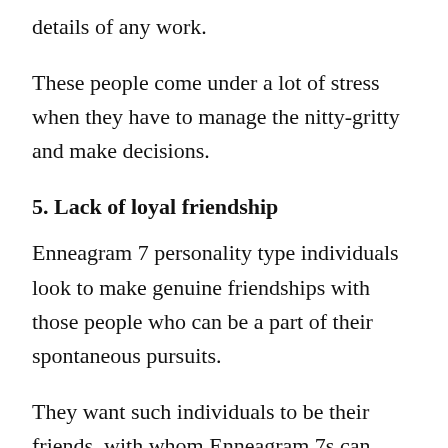details of any work.
These people come under a lot of stress when they have to manage the nitty-gritty and make decisions.
5. Lack of loyal friendship
Enneagram 7 personality type individuals look to make genuine friendships with those people who can be a part of their spontaneous pursuits.
They want such individuals to be their friends, with whom Enneagram 7s can share stories and levels of excitement.